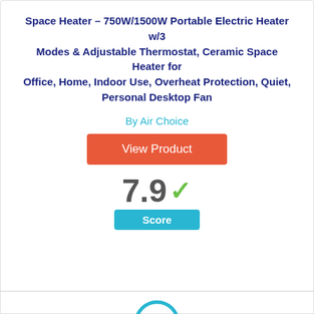Space Heater – 750W/1500W Portable Electric Heater w/3 Modes & Adjustable Thermostat, Ceramic Space Heater for Office, Home, Indoor Use, Overheat Protection, Quiet, Personal Desktop Fan
By Air Choice
View Product
7.9 ✓ Score
[Figure (other): Circular rank badge showing the number 7 inside a blue circle outline]